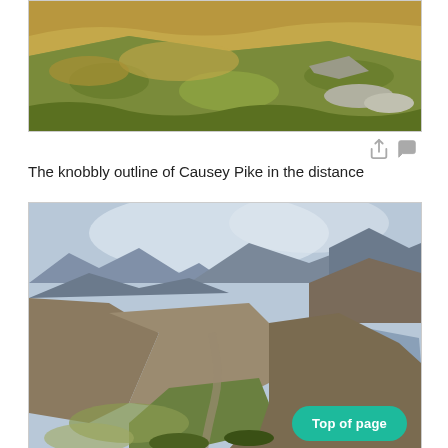[Figure (photo): Aerial/landscape photo of grassy hillside with golden-brown moorland grasses and rocky terrain, showing curved hillside ridges]
The knobbly outline of Causey Pike in the distance
[Figure (photo): Mountain landscape photo showing rolling brown hills with a lake (Crummock Water or Buttermere) visible in the valley, with distant mountains under a cloudy sky and a green valley path in foreground]
Top of page